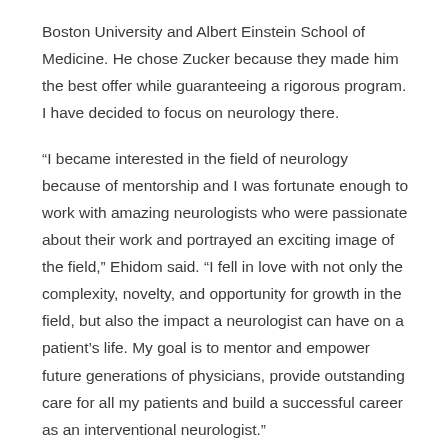Boston University and Albert Einstein School of Medicine. He chose Zucker because they made him the best offer while guaranteeing a rigorous program. I have decided to focus on neurology there.
“I became interested in the field of neurology because of mentorship and I was fortunate enough to work with amazing neurologists who were passionate about their work and portrayed an exciting image of the field,” Ehidom said. “I fell in love with not only the complexity, novelty, and opportunity for growth in the field, but also the impact a neurologist can have on a patient’s life. My goal is to mentor and empower future generations of physicians, provide outstanding care for all my patients and build a successful career as an interventional neurologist.”
Dr. Ehidom’s favorite quote, says a lot about his wisdom and humility at the still youthful age of 24. “One of my favorite quotes reads ‘It ain’t about how hard you hit. It’s about how hard you can